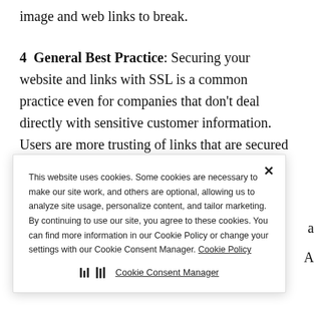continued. Failure to set up SSL will cause both image and web links to break.
4  General Best Practice: Securing your website and links with SSL is a common practice even for companies that don't deal directly with sensitive customer information. Users are more trusting of links that are secured with SSL, and the additional
[Figure (screenshot): Cookie consent banner overlay with close button (X), explanatory text about cookie usage, a Cookie Policy link, and a Cookie Consent Manager button with an icon.]